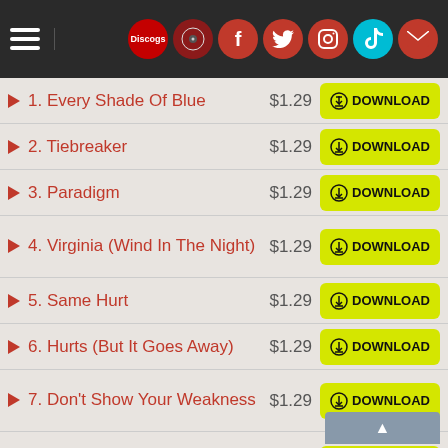Navigation header with menu icon and social icons: Discogs, album, Facebook, Twitter, Instagram, TikTok, Email
1. Every Shade Of Blue — $1.29 — DOWNLOAD
2. Tiebreaker — $1.29 — DOWNLOAD
3. Paradigm — $1.29 — DOWNLOAD
4. Virginia (Wind In The Night) — $1.29 — DOWNLOAD
5. Same Hurt — $1.29 — DOWNLOAD
6. Hurts (But It Goes Away) — $1.29 — DOWNLOAD
7. Don't Show Your Weakness — $1.29 — DOWNLOAD
8. Love We Make — $1.29 — DOWNLOAD